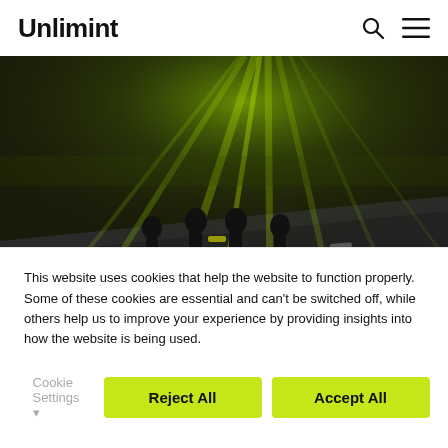Unlimint
[Figure (photo): Silhouettes of four people with bicycles standing on a road at night, with dramatic green-tinted light rays emanating from above/behind them in the distance.]
How Fintech Would Make
This website uses cookies that help the website to function properly. Some of these cookies are essential and can't be switched off, while others help us to improve your experience by providing insights into how the website is being used.
Cookie Settings ▾   Reject All   Accept All